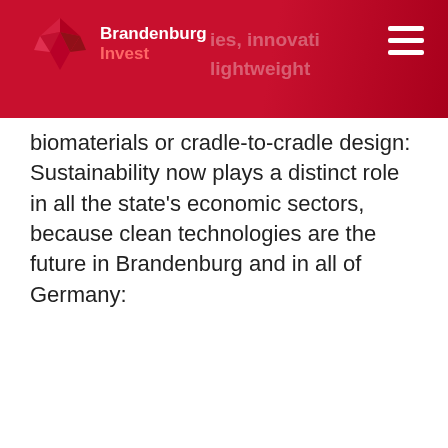Brandenburg Invest — [header bar with partial text: '...ies, innovat... lightweight']
biomaterials or cradle-to-cradle design: Sustainability now plays a distinct role in all the state's economic sectors, because clean technologies are the future in Brandenburg and in all of Germany: